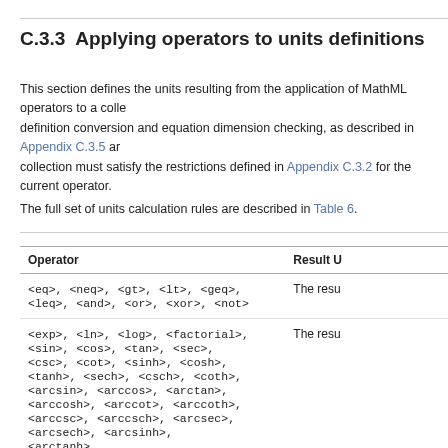C.3.3  Applying operators to units definitions
This section defines the units resulting from the application of MathML operators to a collection of units during definition conversion and equation dimension checking, as described in Appendix C.3.5 and below. Each element in the collection must satisfy the restrictions defined in Appendix C.3.2 for the current operator.
The full set of units calculation rules are described in Table 6.
| Operator | Result U... |
| --- | --- |
| <eq>, <neq>, <gt>, <lt>, <geq>, <leq>, <and>, <or>, <xor>, <not> | The resu... |
| <exp>, <ln>, <log>, <factorial>, <sin>, <cos>, <tan>, <sec>, <csc>, <cot>, <sinh>, <cosh>, <tanh>, <sech>, <csch>, <coth>, <arcsin>, <arccos>, <arctan>, <arccosh>, <arccot>, <arccoth>, <arccsc>, <arccsch>, <arcsec>, <arcsech>, <arcsinh>, <arctanh> | The resu... |
| <plus>, <minus>, <abs>, <floor>, <ceiling> | The resu... |
| <times> | The resu... operand... Appendic... |